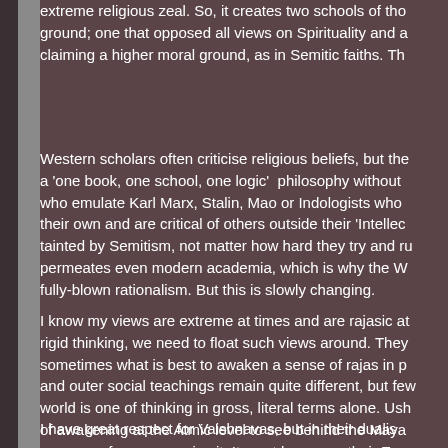extreme religious zeal. So, it creates two schools of tho ground; one that opposed all views on Spirituality and a claiming a higher moral ground, as in Semitic faiths. Th
Western scholars often criticise religious beliefs, but the a 'one book, one school, one logic' philosophy without who emulate Karl Marx, Stalin, Mao or Indologists who their own and are critical of others outside their 'Intellec tainted by Semitism, not matter how hard they try and ru permeates even modern academia, which is why the W fully-blown rationalism. But this is slowly changing.
I know my views are extreme at times and are rajasic at rigid thinking, we need to float such views around. They sometimes what is best to awaken a sense of rajas in p and outer social teachings remain quite different, but few world is one of thinking in gross, literal terms alone. Ush of awakening at the Atmic level to see behind the Maya awesome force or receive it. It must be as per their Ego Force, unknown – a paradox, as they fear it, and their o
I have great respect for Vaishnavas, but in their dualis